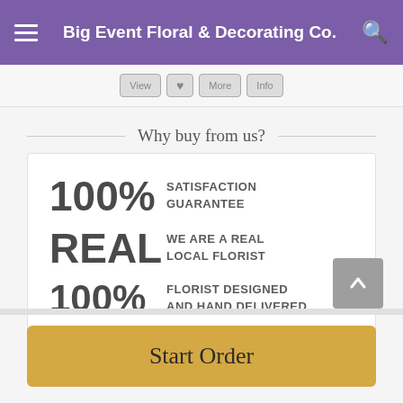Big Event Floral & Decorating Co.
Why buy from us?
100% SATISFACTION GUARANTEE
REAL WE ARE A REAL LOCAL FLORIST
100% FLORIST DESIGNED AND HAND DELIVERED
Start Order